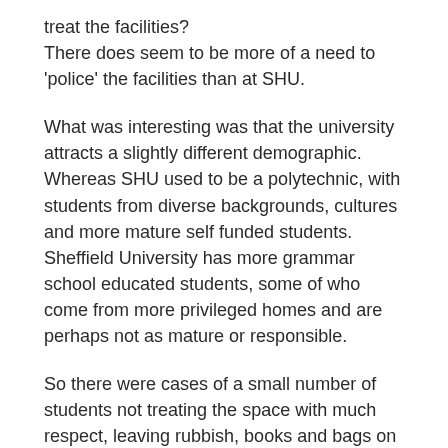treat the facilities?
There does seem to be more of a need to 'police' the facilities than at SHU.
What was interesting was that the university attracts a slightly different demographic. Whereas SHU used to be a polytechnic, with students from diverse backgrounds, cultures and more mature self funded students.
Sheffield University has more grammar school educated students, some of who come from more privileged homes and are perhaps not as mature or responsible.
So there were cases of a small number of students not treating the space with much respect, leaving rubbish, books and bags on the floor.
The floors each had a different colour scheme.